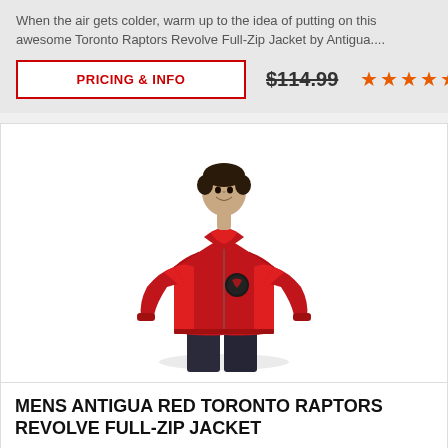When the air gets colder, warm up to the idea of putting on this awesome Toronto Raptors Revolve Full-Zip Jacket by Antigua....
PRICING & INFO
$114.99
[Figure (photo): Man wearing a red Toronto Raptors Revolve Full-Zip Jacket by Antigua, with logo on the chest]
MENS ANTIGUA RED TORONTO RAPTORS REVOLVE FULL-ZIP JACKET